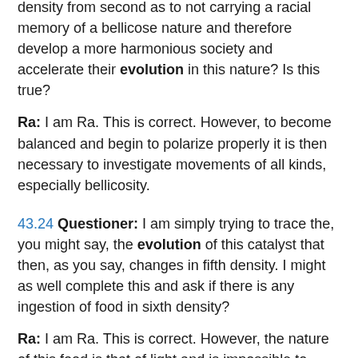density from second as to not carrying a racial memory of a bellicose nature and therefore develop a more harmonious society and accelerate their evolution in this nature? Is this true?
Ra: I am Ra. This is correct. However, to become balanced and begin to polarize properly it is then necessary to investigate movements of all kinds, especially bellicosity.
43.24 Questioner: I am simply trying to trace the, you might say, the evolution of this catalyst that then, as you say, changes in fifth density. I might as well complete this and ask if there is any ingestion of food in sixth density?
Ra: I am Ra. This is correct. However, the nature of this food is that of light and is impossible to describe to you in any meaningful way as regards the thrust of your query.